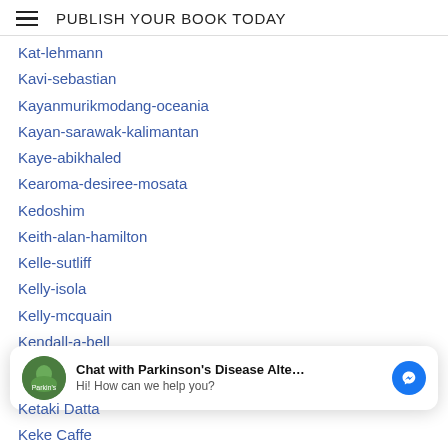PUBLISH YOUR BOOK TODAY
Kat-lehmann
Kavi-sebastian
Kayanmurikmodang-oceania
Kayan-sarawak-kalimantan
Kaye-abikhaled
Kearoma-desiree-mosata
Kedoshim
Keith-alan-hamilton
Kelle-sutliff
Kelly-isola
Kelly-mcquain
Kendall-a-bell
Kenya (Africa)
Keratoconus Exercises
[Figure (other): Chat popup with Parkinson's Disease Alte... avatar, title 'Chat with Parkinson's Disease Alte...', subtitle 'Hi! How can we help you?', and a Messenger icon button]
Ketaki Datta
Keke Caffe